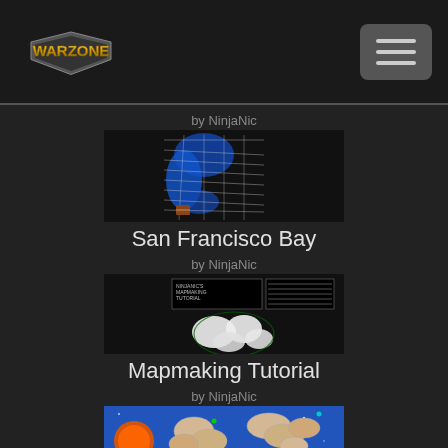Warzone - navigation header with hamburger menu
by NinjaNic
[Figure (map): San Francisco Bay area map with blue water regions and white territory borders on black background]
San Francisco Bay
by NinjaNic
[Figure (map): Mapmaking Tutorial map showing white territories on black background with tutorial text overlay]
Mapmaking Tutorial
by NinjaNic
[Figure (map): Space-themed map with beige island territories on blue background with orange sun]